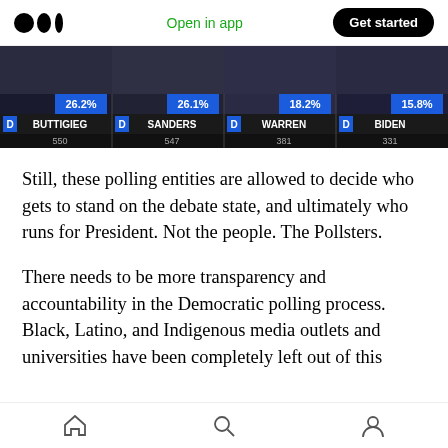Medium app header — Open in app | Get started
[Figure (screenshot): TV screenshot showing Democratic primary polling results: D BUTTIGIEG 26.2% (550), D SANDERS 26.1% (547), D WARREN 18.2% (381), D BIDEN 15.8% (331)]
Still, these polling entities are allowed to decide who gets to stand on the debate state, and ultimately who runs for President. Not the people. The Pollsters.
There needs to be more transparency and accountability in the Democratic polling process. Black, Latino, and Indigenous media outlets and universities have been completely left out of this
Home | Search | Profile navigation icons